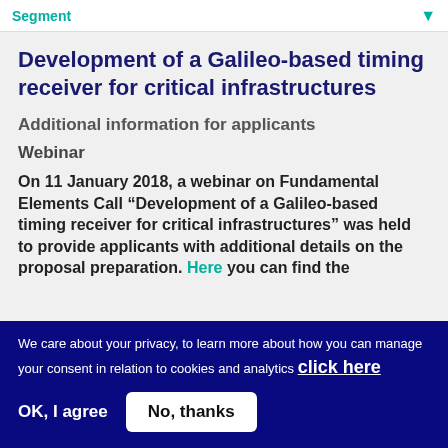Segment
Development of a Galileo-based timing receiver for critical infrastructures
Additional information for applicants
Webinar
On 11 January 2018, a webinar on Fundamental Elements Call “Development of a Galileo-based timing receiver for critical infrastructures” was held to provide applicants with additional details on the proposal preparation. Here you can find the
We care about your privacy, to learn more about how you can manage your consent in relation to cookies and analytics click here
OK, I agree
No, thanks